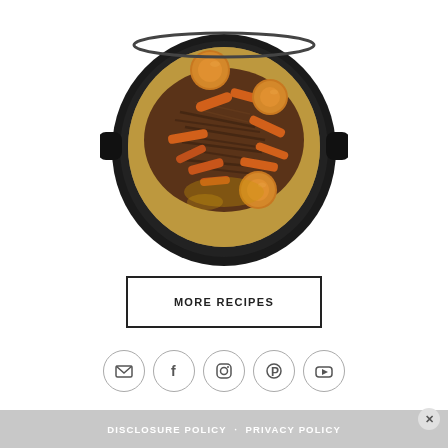[Figure (photo): Overhead view of a black slow cooker / crockpot filled with shredded beef pot roast, baby carrots, and whole onions in broth, seen from above on a white background.]
MORE RECIPES
[Figure (infographic): Row of five social media icon circles: email, Facebook, Instagram, Pinterest, YouTube]
DISCLOSURE POLICY · PRIVACY POLICY